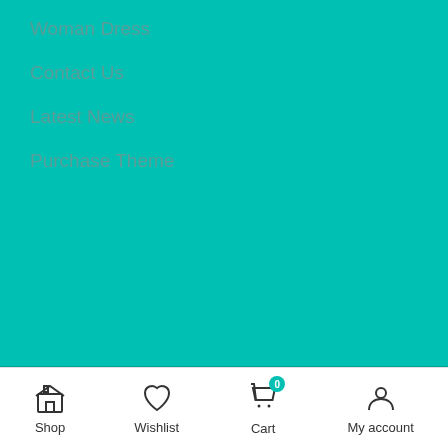Woman Dress
Contact Us
Latest News
Purchase Theme
INTELPRISE © 2022 · ALL RIGHTS RESERVED.
POWERED BY INTELPRISE - SMART WEB SOLUTIONS
Web Agency - ECommerce - App Development - Surveillance - Cybersecurity - BlockChain Engineering
[Figure (other): Payment method icons: VISA, MasterCard, PayPal, American Express, VISA Electron, Maestro]
Shop  Wishlist  Cart  My account